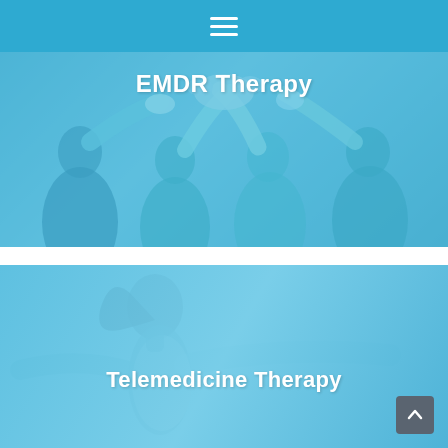≡ (hamburger menu icon)
[Figure (photo): Group of people raising hands together in a team high-five gesture, rendered with a blue tint overlay, with the title 'EMDR Therapy' overlaid at the top center]
EMDR Therapy
[Figure (photo): Woman with arms spread wide, eyes closed, smiling serenely, rendered with a blue tint overlay, representing telemedicine therapy, with the title 'Telemedicine Therapy' overlaid]
Telemedicine Therapy